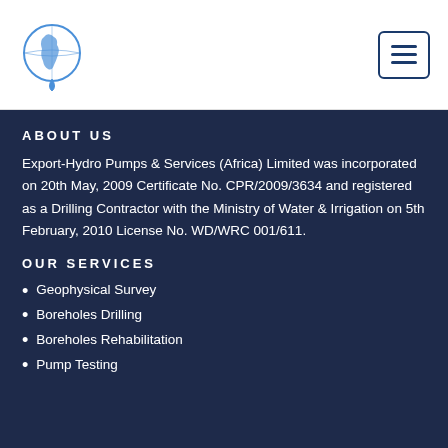[Figure (logo): Export-Hydro Pumps & Services Africa logo - globe with Africa continent and water drop]
[Figure (other): Hamburger menu icon button - three horizontal lines in a rounded rectangle border]
ABOUT US
Export-Hydro Pumps & Services (Africa) Limited was incorporated on 20th May, 2009 Certificate No. CPR/2009/3634 and registered as a Drilling Contractor with the Ministry of Water & Irrigation on 5th February, 2010 License No. WD/WRC 001/611.
OUR SERVICES
Geophysical Survey
Boreholes Drilling
Boreholes Rehabilitation
Pump Testing